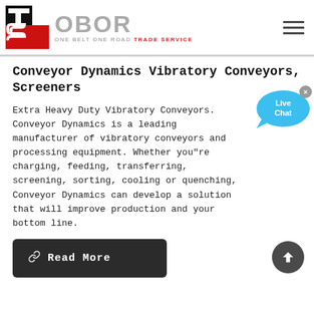[Figure (logo): OBOR Trade Service logo with red/black TS icon and grey OBOR text with tagline ONE BELT ONE ROAD TRADE SERVICE]
Conveyor Dynamics Vibratory Conveyors, Screeners
Extra Heavy Duty Vibratory Conveyors. Conveyor Dynamics is a leading manufacturer of vibratory conveyors and processing equipment. Whether you"re charging, feeding, transferring, screening, sorting, cooling or quenching, Conveyor Dynamics can develop a solution that will improve production and your bottom line.
[Figure (illustration): Live Chat speech bubble widget in blue]
Read More